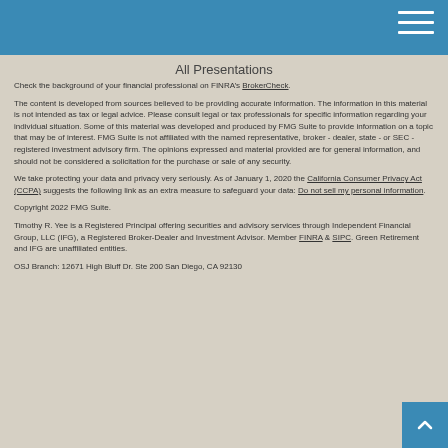All Presentations
Check the background of your financial professional on FINRA’s BrokerCheck.
The content is developed from sources believed to be providing accurate information. The information in this material is not intended as tax or legal advice. Please consult legal or tax professionals for specific information regarding your individual situation. Some of this material was developed and produced by FMG Suite to provide information on a topic that may be of interest. FMG Suite is not affiliated with the named representative, broker - dealer, state - or SEC - registered investment advisory firm. The opinions expressed and material provided are for general information, and should not be considered a solicitation for the purchase or sale of any security.
We take protecting your data and privacy very seriously. As of January 1, 2020 the California Consumer Privacy Act (CCPA) suggests the following link as an extra measure to safeguard your data: Do not sell my personal information.
Copyright 2022 FMG Suite.
Timothy R. Yee is a Registered Principal offering securities and advisory services through Independent Financial Group, LLC (IFG), a Registered Broker-Dealer and Investment Advisor. Member FINRA & SIPC. Green Retirement and IFG are unaffiliated entities.
OSJ Branch: 12671 High Bluff Dr. Ste 200 San Diego, CA 92130